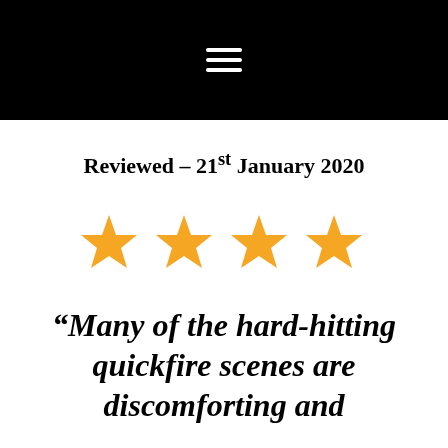☰
Reviewed – 21st January 2020
[Figure (illustration): Four orange star rating icons displayed in a horizontal row]
“Many of the hard-hitting quickfire scenes are discomforting and